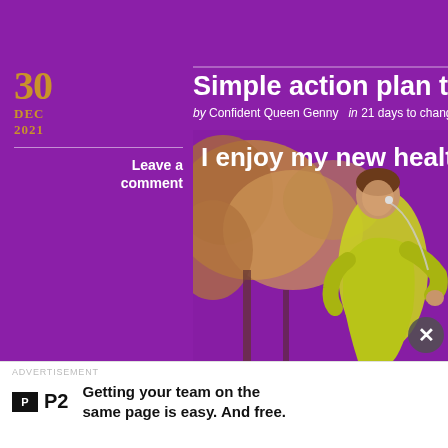Simple action plan to be fitter and healthier
by Confident Queen Genny   in 21 days to change your life   To...
30 DEC 2021
Leave a comment
[Figure (photo): Woman in yellow jacket running outdoors with earphones, autumn foliage background. Overlay text: I enjoy my new healthier life]
ADVERTISEMENT
P2  Getting your team on the same page is easy. And free.